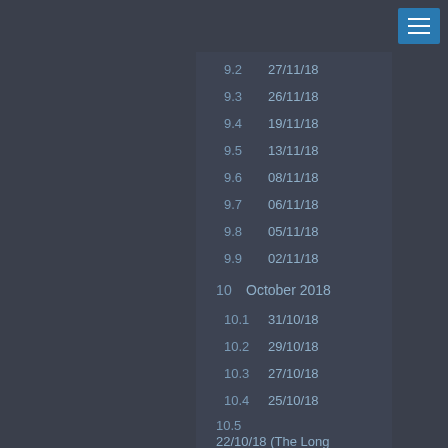9.2  27/11/18
9.3  26/11/18
9.4  19/11/18
9.5  13/11/18
9.6  08/11/18
9.7  06/11/18
9.8  05/11/18
9.9  02/11/18
10   October 2018
10.1  31/10/18
10.2  29/10/18
10.3  27/10/18
10.4  25/10/18
10.5  22/10/18 (The Long awaited update to latest SKSE - Part 3)
10.6  20/10/18 (The Long awaited update to latest SKSE - Part 2)